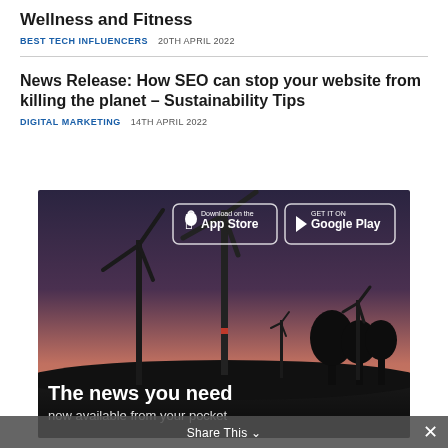Wellness and Fitness
BEST TECH INFLUENCERS   20TH APRIL 2022
News Release: How SEO can stop your website from killing the planet – Sustainability Tips
DIGITAL MARKETING   14TH APRIL 2022
[Figure (photo): Advertisement banner showing wind turbines at dusk with App Store and Google Play download buttons, text reading 'The news you need now available from your pocket']
Share This